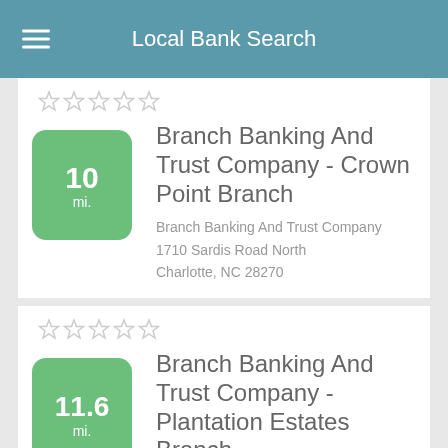Local Bank Search
[Figure (other): 5 empty star rating icons]
10 mi.
Branch Banking And Trust Company - Crown Point Branch
Branch Banking And Trust Company
1710 Sardis Road North
Charlotte, NC 28270
[Figure (other): 5 empty star rating icons]
11.6 mi.
Branch Banking And Trust Company - Plantation Estates Branch
Branch Banking And Trust Company
737 Plantation Estates Drive